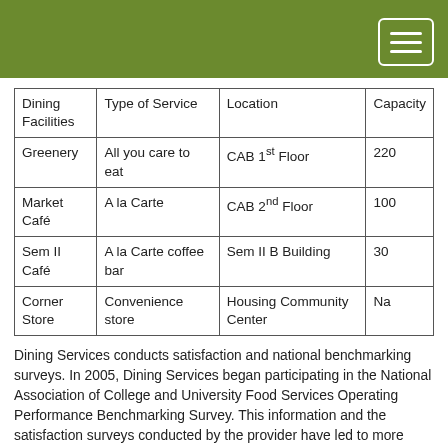| Dining Facilities | Type of Service | Location | Capacity |
| --- | --- | --- | --- |
| Greenery | All you care to eat | CAB 1st Floor | 220 |
| Market Café | A la Carte | CAB 2nd Floor | 100 |
| Sem II Café | A la Carte coffee bar | Sem II B Building | 30 |
| Corner Store | Convenience store | Housing Community Center | Na |
Dining Services conducts satisfaction and national benchmarking surveys. In 2005, Dining Services began participating in the National Association of College and University Food Services Operating Performance Benchmarking Survey. This information and the satisfaction surveys conducted by the provider have led to more student-centered meal plans; changes in hours of operations; improved menu selections; and a more financially sound food service.
Dining Services faces challenges and opportunities with